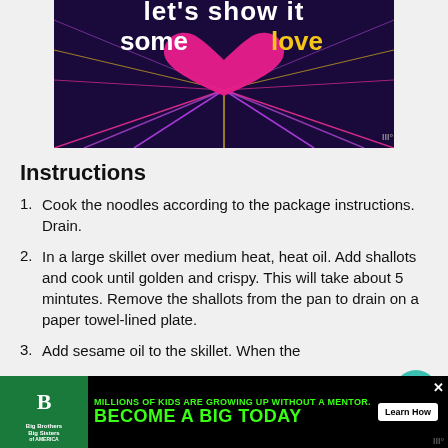[Figure (illustration): Dark purple/navy background with radiating colored lines (pink, yellow, purple, magenta) from a center point, with a pink heart shape at top center. White bold text reads "let's show it" and "some love" with 'love' in yellow/gold.]
Instructions
Cook the noodles according to the package instructions. Drain.
In a large skillet over medium heat, heat oil. Add shallots and cook until golden and crispy. This will take about 5 mintutes. Remove the shallots from the pan to drain on a paper towel-lined plate.
Add sesame oil to the skillet. When the
[Figure (screenshot): Advertisement banner for Big Brothers Big Sisters. Black background with green neon text: 'MILLIONS OF KIDS ARE GROWING UP WITHOUT A MENTOR.' 'BECOME A BIG TODAY' with a 'Learn How' button. Logo on left shows 'Big Brothers Big Sisters of America' with a stylized B logo in green/white.]